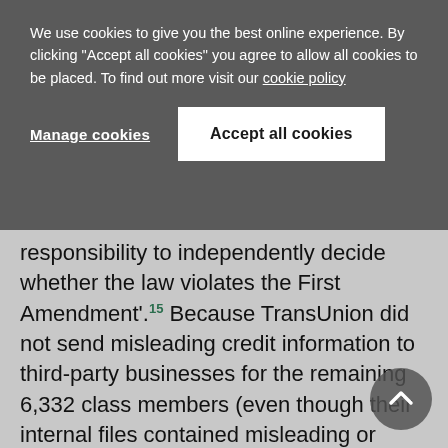We use cookies to give you the best online experience. By clicking "Accept all cookies" you agree to allow all cookies to be placed. To find out more visit our cookie policy
Manage cookies
Accept all cookies
responsibility to independently decide whether the law violates the First Amendment'.15 Because TransUnion did not send misleading credit information to third-party businesses for the remaining 6,332 class members (even though their internal files contained misleading or incorrect information), these class members did not suffer a concrete harm. This is because '[t]he mere presence of an inaccuracy in an internal credit file, if it is not disclosed to a third party,